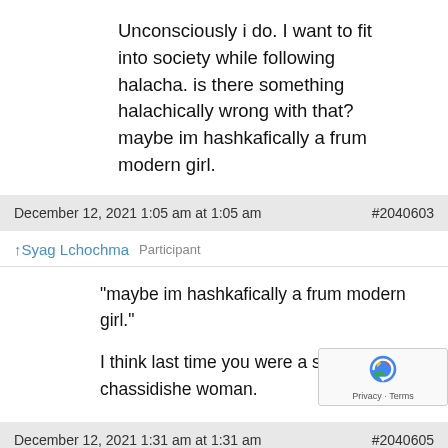Unconsciously i do. I want to fit into society while following halacha. is there something halachically wrong with that? maybe im hashkafically a frum modern girl.
December 12, 2021 1:05 am at 1:05 am  #2040603
Syag Lchochma  Participant
“maybe im hashkafically a frum modern girl.”

I think last time you were a strict chassidishe woman.
December 12, 2021 1:31 am at 1:31 am  #2040605
AviraDeArah  Participant
Inquisitive, unfortunately being part of the Torah w... doesn't mean we're impervious to bad middos, or even